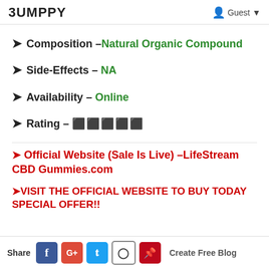BUMPPY  Guest
➤ Composition –Natural Organic Compound
➤ Side-Effects – NA
➤ Availability – Online
➤ Rating – ⬛⬛⬛⬛⬛
➤ Official Website (Sale Is Live) –LifeStream CBD Gummies.com
➤VISIT THE OFFICIAL WEBSITE TO BUY TODAY SPECIAL OFFER!!
Share [Facebook] [Google+] [Twitter] [Reddit] [Pinterest] Create Free Blog